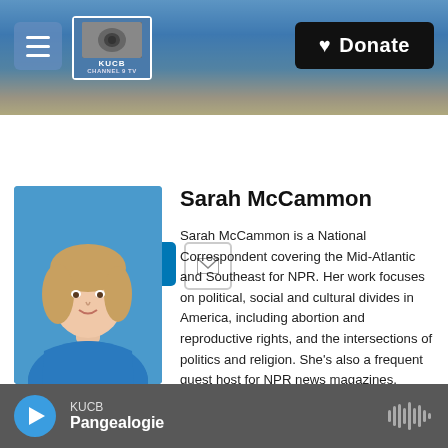[Figure (screenshot): KUCB Channel 9 TV station logo on website header banner with mountain/landscape background]
[Figure (other): Donate button in upper right of header]
[Figure (other): Social sharing icons: Facebook, Twitter, LinkedIn, Email]
[Figure (photo): Headshot photo of Sarah McCammon, a woman with blonde hair wearing a blue top]
Sarah McCammon
Sarah McCammon is a National Correspondent covering the Mid-Atlantic and Southeast for NPR. Her work focuses on political, social and cultural divides in America, including abortion and reproductive rights, and the intersections of politics and religion. She's also a frequent guest host for NPR news magazines, podcasts and special
KUCB Pangealogie